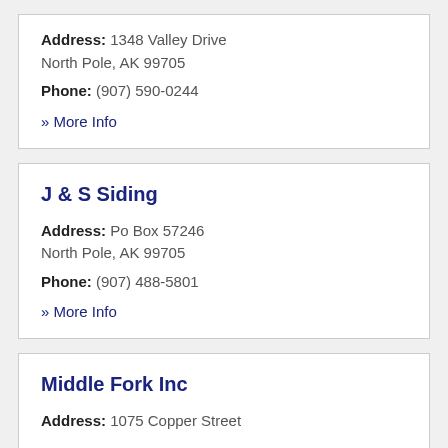Address: 1348 Valley Drive North Pole, AK 99705
Phone: (907) 590-0244
» More Info
J & S Siding
Address: Po Box 57246 North Pole, AK 99705
Phone: (907) 488-5801
» More Info
Middle Fork Inc
Address: 1075 Copper Street